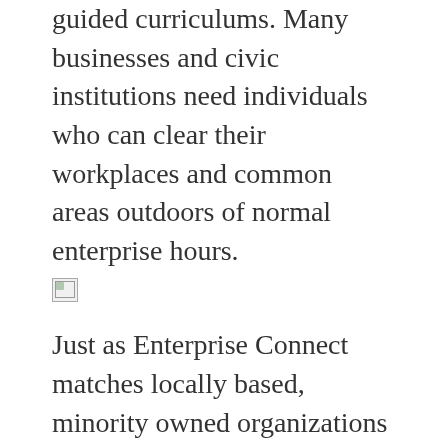guided curriculums. Many businesses and civic institutions need individuals who can clear their workplaces and common areas outdoors of normal enterprise hours.
[Figure (photo): Broken/missing image placeholder icon]
Just as Enterprise Connect matches locally based, minority owned organizations to searching businesses coming to Minnesota subsequent January, Be The Match connects a bone marrow donor to a looking out blood most cancers affected person in need of a life-saving marrow transplant. Our small business team is right here for you if you